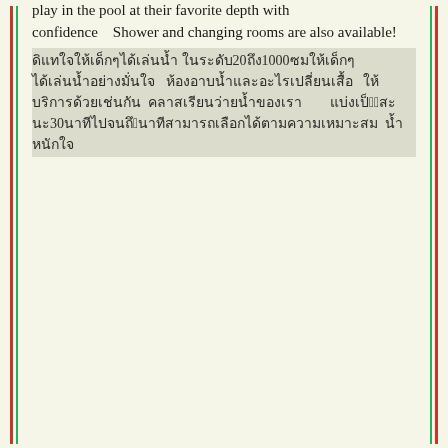play in the pool at their favorite depth with confidence    Shower and changing rooms are also available!
□□□□□□□□□□□□□□□□□□□ □□□□□□□□□20□1000□□□□□□□□□ □□□□□□□□□□□□□□□□□□□□ □□□□ □□□□□□□□□□□□□ □□□□□□ □□□□□□□□□□□□□□ □□□□□□□□□□□□□□□□□□ □□□□□□15□ □□30□□□45□□□□□□□□□□□□□□□□□□□□□□□□□□□□□□□□□□□□□□ □□ □□□□□□□□□□